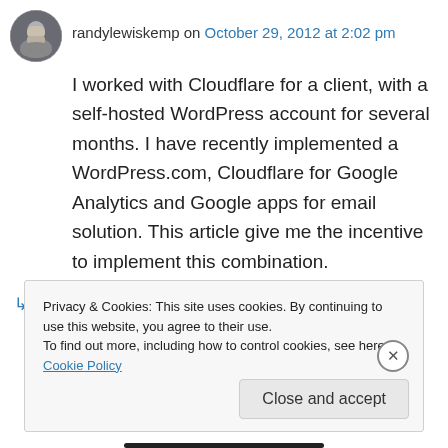[Figure (photo): Small circular avatar photo of a man (randylewiskemp)]
randylewiskemp on October 29, 2012 at 2:02 pm
I worked with Cloudflare for a client, with a self-hosted WordPress account for several months. I have recently implemented a WordPress.com, Cloudflare for Google Analytics and Google apps for email solution. This article give me the incentive to implement this combination.
↳ Reply
Privacy & Cookies: This site uses cookies. By continuing to use this website, you agree to their use.
To find out more, including how to control cookies, see here: Cookie Policy
Close and accept